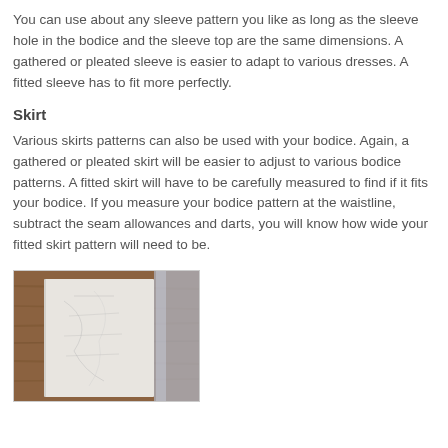You can use about any sleeve pattern you like as long as the sleeve hole in the bodice and the sleeve top are the same dimensions. A gathered or pleated sleeve is easier to adapt to various dresses. A fitted sleeve has to fit more perfectly.
Skirt
Various skirts patterns can also be used with your bodice. Again, a gathered or pleated skirt will be easier to adjust to various bodice patterns. A fitted skirt will have to be carefully measured to find if it fits your bodice. If you measure your bodice pattern at the waistline, subtract the seam allowances and darts, you will know how wide your fitted skirt pattern will need to be.
[Figure (photo): Photo of a sewing pattern piece (light grey/white paper with markings) laid on a wooden surface, with what appears to be a mirror or glass panel next to it.]